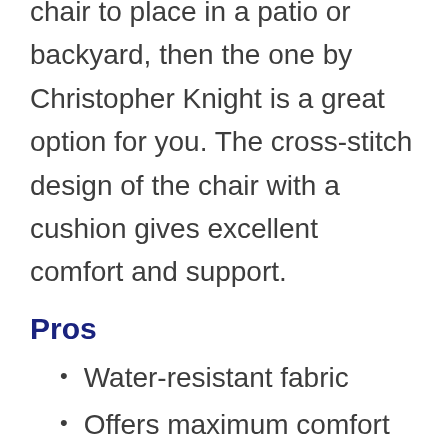chair to place in a patio or backyard, then the one by Christopher Knight is a great option for you. The cross-stitch design of the chair with a cushion gives excellent comfort and support.
Pros
Water-resistant fabric
Offers maximum comfort